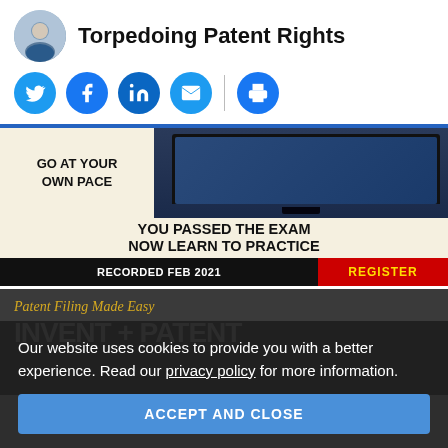Torpedoing Patent Rights
[Figure (infographic): Social media share buttons row: Twitter, Facebook, LinkedIn, Email, Print — all blue circular icons]
[Figure (infographic): Advertisement banner: GO AT YOUR OWN PACE / YOU PASSED THE EXAM NOW LEARN TO PRACTICE / RECORDED FEB 2021 / REGISTER]
[Figure (infographic): Advertisement banner: Patent Filing Made Easy / INVENT + PATENT]
Our website uses cookies to provide you with a better experience. Read our privacy policy for more information.
ACCEPT AND CLOSE